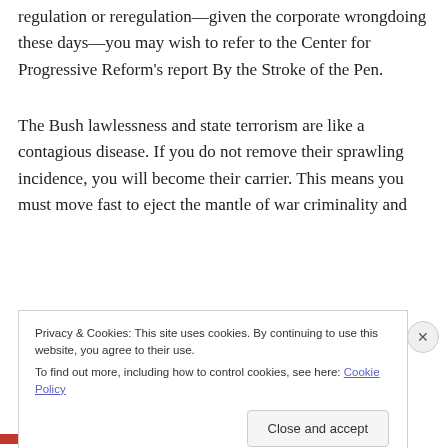regulation or reregulation—given the corporate wrongdoing these days—you may wish to refer to the Center for Progressive Reform's report By the Stroke of the Pen.
The Bush lawlessness and state terrorism are like a contagious disease. If you do not remove their sprawling incidence, you will become their carrier. This means you must move fast to eject the mantle of war criminality and
Privacy & Cookies: This site uses cookies. By continuing to use this website, you agree to their use.
To find out more, including how to control cookies, see here: Cookie Policy